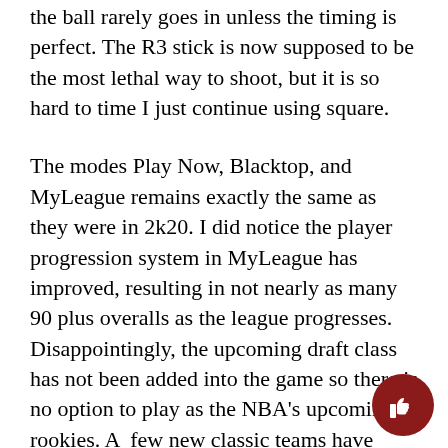the ball rarely goes in unless the timing is perfect. The R3 stick is now supposed to be the most lethal way to shoot, but it is so hard to time I just continue using square.
The modes Play Now, Blacktop, and MyLeague remains exactly the same as they were in 2k20. I did notice the player progression system in MyLeague has improved, resulting in not nearly as many 90 plus overalls as the league progresses. Disappointingly, the upcoming draft class has not been added into the game so there is no option to play as the NBA's upcoming rookies. A  few new classic teams have been added into Play Now but other than that it is exactly the same.